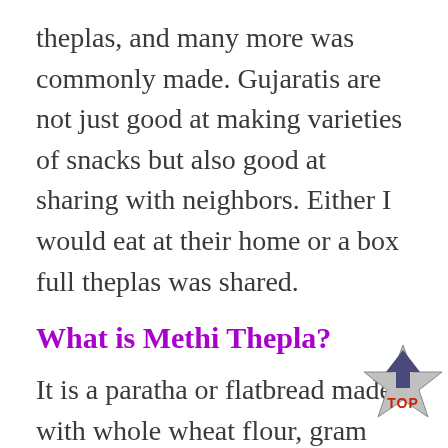theplas, and many more was commonly made. Gujaratis are not just good at making varieties of snacks but also good at sharing with neighbors. Either I would eat at their home or a box full theplas was shared.
What is Methi Thepla?
It is a paratha or flatbread made with whole wheat flour, gram flour, fresh fenugreek leaves, spices, and yogurt. The star ingredient of this dish is Methi which gives the thepla a distinctive taste. Usually, Methi leaves are not preferred for their bitter taste. But thepla not taste bitter as there are many ingredients